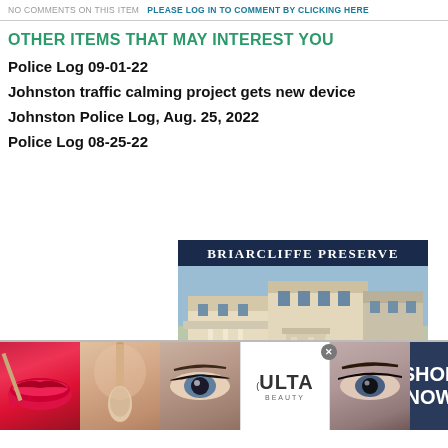NO COMMENTS ON THIS ITEM   PLEASE LOG IN TO COMMENT BY CLICKING HERE
OTHER ITEMS THAT MAY INTEREST YOU
Police Log 09-01-22
Johnston traffic calming project gets new device
Johnston Police Log, Aug. 25, 2022
Police Log 08-25-22
[Figure (photo): Briarcliffe Preserve advertisement showing a large residential or assisted living building with parking lot and landscaping, with 'AWARDED' badge overlay]
[Figure (photo): Ulta Beauty advertisement banner showing makeup close-up photos and Shop Now call to action]